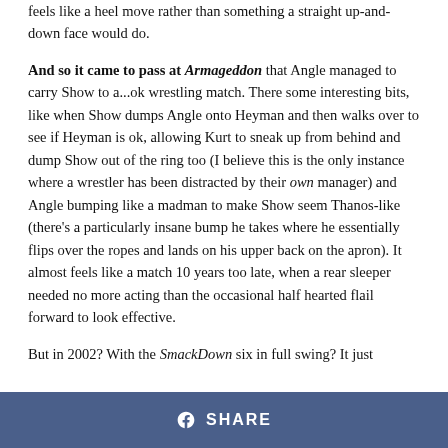feels like a heel move rather than something a straight up-and-down face would do.
And so it came to pass at Armageddon that Angle managed to carry Show to a...ok wrestling match. There some interesting bits, like when Show dumps Angle onto Heyman and then walks over to see if Heyman is ok, allowing Kurt to sneak up from behind and dump Show out of the ring too (I believe this is the only instance where a wrestler has been distracted by their own manager) and Angle bumping like a madman to make Show seem Thanos-like (there's a particularly insane bump he takes where he essentially flips over the ropes and lands on his upper back on the apron). It almost feels like a match 10 years too late, when a rear sleeper needed no more acting than the occasional half hearted flail forward to look effective.
But in 2002? With the SmackDown six in full swing? It just
SHARE